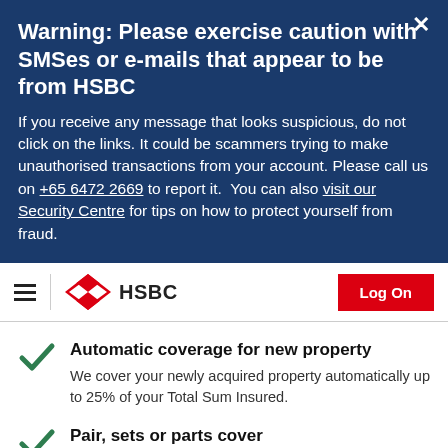Warning: Please exercise caution with SMSes or e-mails that appear to be from HSBC
If you receive any message that looks suspicious, do not click on the links. It could be scammers trying to make unauthorised transactions from your account. Please call us on +65 6472 2669 to report it.  You can also visit our Security Centre for tips on how to protect yourself from fraud.
[Figure (logo): HSBC logo with navigation bar including hamburger menu and Log On button]
Automatic coverage for new property
We cover your newly acquired property automatically up to 25% of your Total Sum Insured.
Pair, sets or parts cover
If part of a pair or set of fine art items is damaged, you can choose to claim a total loss to receive full payment